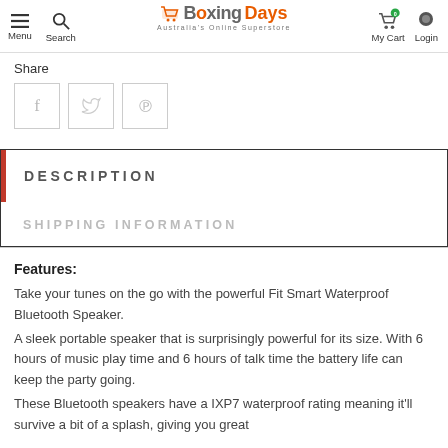Menu | Search | Boxing Days Australia's Online Superstore | My Cart | Login
Share
[Figure (illustration): Three social share icon boxes: Facebook (f), Twitter (bird), Pinterest (p)]
DESCRIPTION
SHIPPING INFORMATION
Features:
Take your tunes on the go with the powerful Fit Smart Waterproof Bluetooth Speaker.
A sleek portable speaker that is surprisingly powerful for its size. With 6 hours of music play time and 6 hours of talk time the battery life can keep the party going.
These Bluetooth speakers have a IXP7 waterproof rating meaning it'll survive a bit of a splash, giving you great